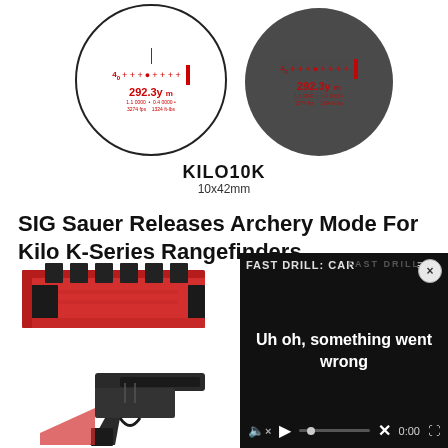[Figure (photo): Two circular scope reticle views side by side. Left: white background showing red reticle with crosshair dots and text '292.3y' with sub-readings. Right: dark background (real scene) showing same red reticle overlay with measurement data.]
KILO10K
10x42mm
SIG Sauer Releases Archery Mode For Kilo K-Series Rangefinders
[Figure (photo): Red rectangular drill jig/fixture with black components, and a black pistol frame below it on the left side.]
[Figure (screenshot): Video player overlay with dark background. Shows 'FAST DRILL: CAR' label at top with hamburger menu and pencil icons. Center text: 'Uh oh, something went wrong'. Controls at bottom: mute icon with X, play button, progress bar with dot, X mark, '0:00' time display, fullscreen icon. Close button (x) in upper right corner.]